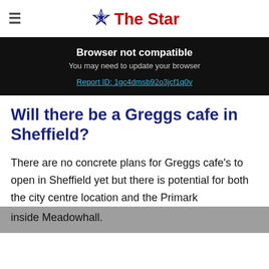The Star
Browser not compatible
You may need to update your browser
Report ID: 1gc4dmsb92o3jcf1q0v
Will there be a Greggs cafe in Sheffield?
There are no concrete plans for Greggs cafe's to open in Sheffield yet but there is potential for both the city centre location and the Primark inside Meadowhall.